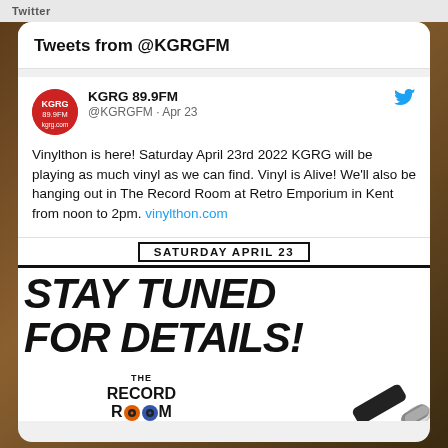Twitter
Tweets from @KGRGFM
KGRG 89.9FM @KGRGFM · Apr 23
Vinylthon is here! Saturday April 23rd 2022 KGRG will be playing as much vinyl as we can find. Vinyl is Alive! We'll also be hanging out in The Record Room at Retro Emporium in Kent from noon to 2pm. vinylthon.com
[Figure (infographic): Promotional image for Vinylthon event with text: SATURDAY APRIL 23, STAY TUNED FOR DETAILS!, The Record Room logo, Inside the Retro Emporium, with a black marker graphic]